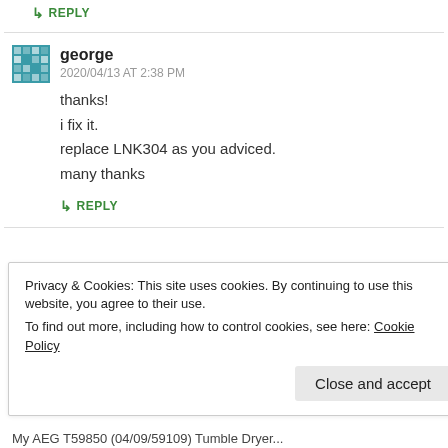↳ REPLY
george
2020/04/13 AT 2:38 PM
thanks!
i fix it.
replace LNK304 as you adviced.
many thanks
↳ REPLY
Privacy & Cookies: This site uses cookies. By continuing to use this website, you agree to their use.
To find out more, including how to control cookies, see here: Cookie Policy
Close and accept
My AEG T59850 (04/09/59109) Tumble Dryer...